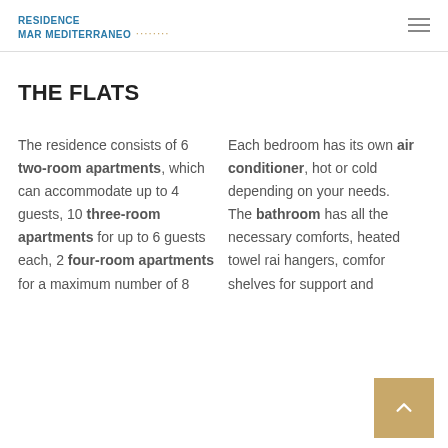RESIDENCE MAR MEDITERRANEO
THE FLATS
The residence consists of 6 two-room apartments, which can accommodate up to 4 guests, 10 three-room apartments for up to 6 guests each, 2 four-room apartments for a maximum number of 8
Each bedroom has its own air conditioner, hot or cold depending on your needs. The bathroom has all the necessary comforts, heated towel rail hangers, comfor shelves for support and